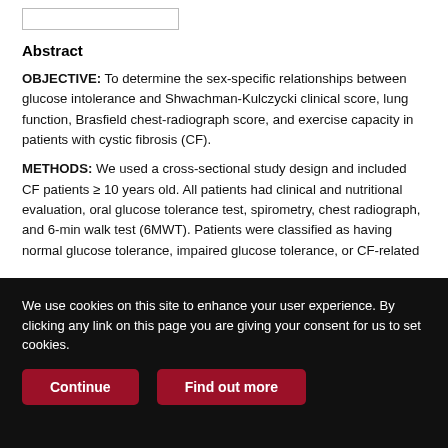Abstract
OBJECTIVE: To determine the sex-specific relationships between glucose intolerance and Shwachman-Kulczycki clinical score, lung function, Brasfield chest-radiograph score, and exercise capacity in patients with cystic fibrosis (CF).
METHODS: We used a cross-sectional study design and included CF patients ≥ 10 years old. All patients had clinical and nutritional evaluation, oral glucose tolerance test, spirometry, chest radiograph, and 6-min walk test (6MWT). Patients were classified as having normal glucose tolerance, impaired glucose tolerance, or CF-related
We use cookies on this site to enhance your user experience. By clicking any link on this page you are giving your consent for us to set cookies.